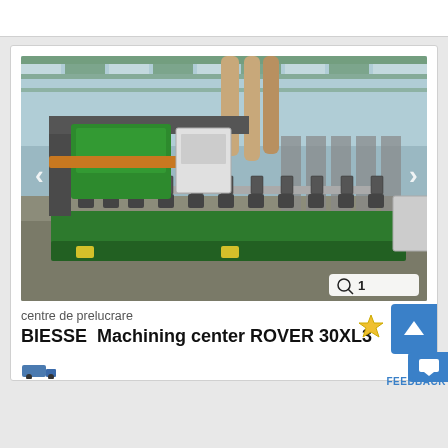[Figure (photo): Industrial CNC machining center BIESSE ROVER 30XL3 inside a factory/workshop. The machine is green with multiple work clamps on rails, a large gantry/spindle head, and vacuum hoses above. The factory has a green steel-frame roof structure.]
centre de prelucrare
BIESSE  Machining center ROVER 30XL3